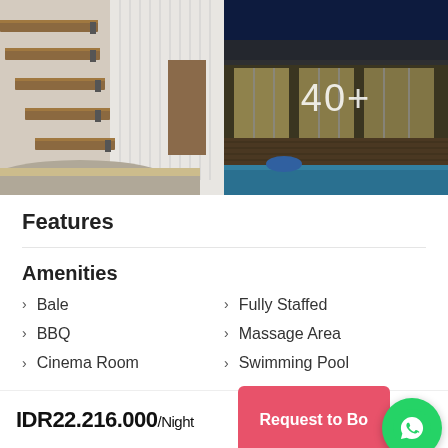[Figure (photo): Two property photos side by side: left shows floating wooden staircase with pebble base and white paneled wall; right shows night view of villa with illuminated pool and glass sliding doors, overlaid with text '40+']
Features
Amenities
Bale
BBQ
Cinema Room
Fully Staffed
Massage Area
Swimming Pool
IDR22.216.000/Night
Request to Bo...